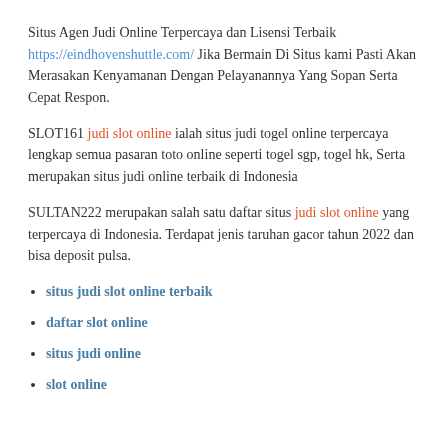Situs Agen Judi Online Terpercaya dan Lisensi Terbaik https://eindhovenshuttle.com/ Jika Bermain Di Situs kami Pasti Akan Merasakan Kenyamanan Dengan Pelayanannya Yang Sopan Serta Cepat Respon.
SLOT161 judi slot online ialah situs judi togel online terpercaya lengkap semua pasaran toto online seperti togel sgp, togel hk, Serta merupakan situs judi online terbaik di Indonesia
SULTAN222 merupakan salah satu daftar situs judi slot online yang terpercaya di Indonesia. Terdapat jenis taruhan gacor tahun 2022 dan bisa deposit pulsa.
situs judi slot online terbaik
daftar slot online
situs judi online
slot online